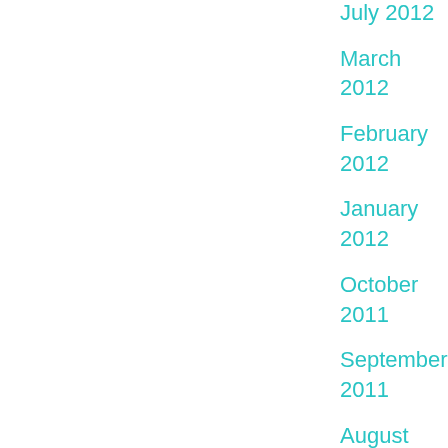July 2012
March 2012
February 2012
January 2012
October 2011
September 2011
August 2011
July 2011
June 2011
May 2011
April 2011
February 2011
September 2010
August 2010
July 2010